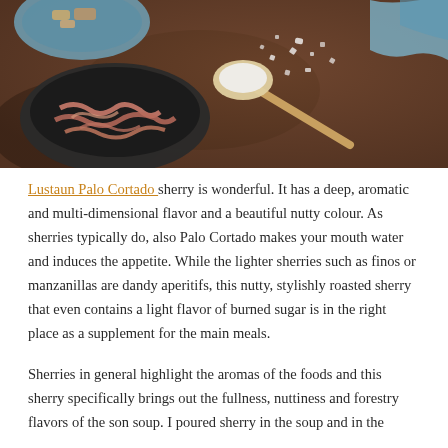[Figure (photo): Food photography showing a dark bowl with cooked bacon/meat strips, a wooden spoon with coarse salt crystals scattered around it on a dark rusty surface, a blue plate with food in the upper left, and a blue cloth in the upper right.]
Lustaun Palo Cortado sherry is wonderful. It has a deep, aromatic and multi-dimensional flavor and a beautiful nutty colour. As sherries typically do, also Palo Cortado makes your mouth water and induces the appetite. While the lighter sherries such as finos or manzanillas are dandy aperitifs, this nutty, stylishly roasted sherry that even contains a light flavor of burned sugar is in the right place as a supplement for the main meals.
Sherries in general highlight the aromas of the foods and this sherry specifically brings out the fullness, nuttiness and forestry flavors of the son soup. I poured sherry in the soup and in the